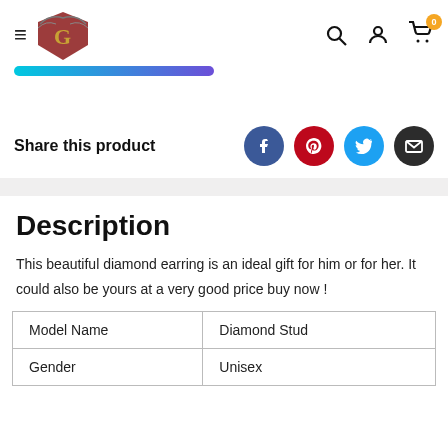Navigation header with hamburger menu, logo, search, account, and cart (0 items)
[Figure (other): Gradient progress bar, teal to purple]
Share this product
[Figure (infographic): Social share icons: Facebook, Pinterest, Twitter, Email]
Description
This beautiful diamond earring is an ideal gift for him or for her. It could also be yours at a very good price buy now !
| Model Name | Diamond Stud |
| Gender | Unisex |